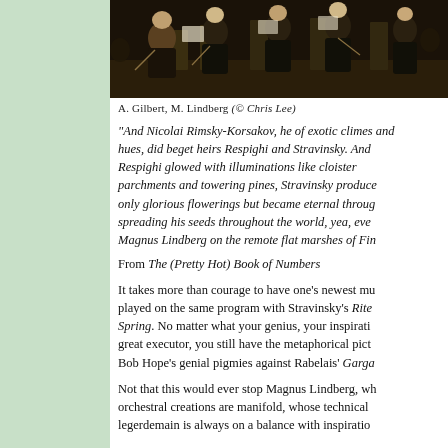[Figure (photo): Orchestra performers on stage, A. Gilbert and M. Lindberg, photo credit Chris Lee]
A. Gilbert, M. Lindberg (© Chris Lee)
“And Nicolai Rimsky-Korsakov, he of exotic climes and hues, did beget heirs Respighi and Stravinsky. And Respighi glowed with illuminations like cloister parchments and towering pines, Stravinsky produced not only glorious flowerings but became eternal through spreading his seeds throughout the world, yea, even unto Magnus Lindberg on the remote flat marshes of Fin…
From The (Pretty Hot) Book of Numbers
It takes more than courage to have one’s newest mu… played on the same program with Stravinsky’s Rite of Spring. No matter what your genius, your inspiratio… great executor, you still have the metaphorical pict… Bob Hope’s genial pigmies against Rabelais’ Garga…
Not that this would ever stop Magnus Lindberg, wh… orchestral creations are manifold, whose technical… legerdemain is always on a balance with inspiratio…